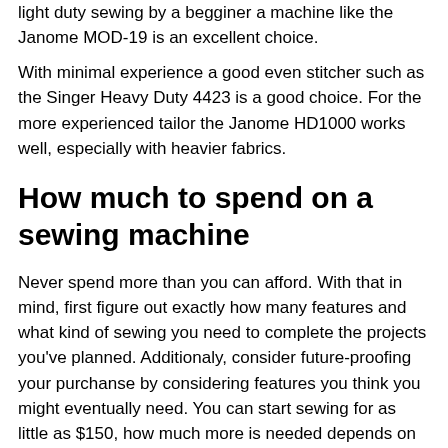light duty sewing by a begginer a machine like the Janome MOD-19 is an excellent choice.
With minimal experience a good even stitcher such as the Singer Heavy Duty 4423 is a good choice. For the more experienced tailor the Janome HD1000 works well, especially with heavier fabrics.
How much to spend on a sewing machine
Never spend more than you can afford. With that in mind, first figure out exactly how many features and what kind of sewing you need to complete the projects you've planned. Additionaly, consider future-proofing your purchanse by considering features you think you might eventually need. You can start sewing for as little as $150, how much more is needed depends on your personal goals.